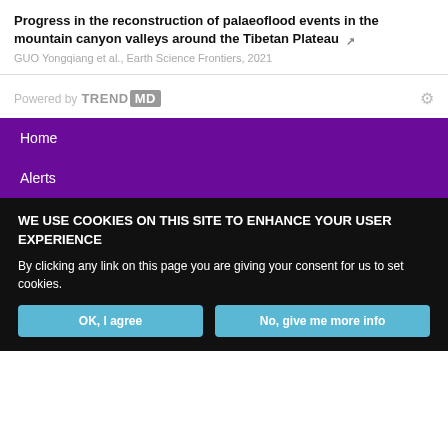Progress in the reconstruction of palaeoflood events in the mountain canyon valleys around the Tibetan Plateau
GUO Yongqiang et al., Earth Science Frontiers, 2021
[Figure (logo): Powered by TREND MD logo with gear icon]
Home
Alerts
WE USE COOKIES ON THIS SITE TO ENHANCE YOUR USER EXPERIENCE
By clicking any link on this page you are giving your consent for us to set cookies.